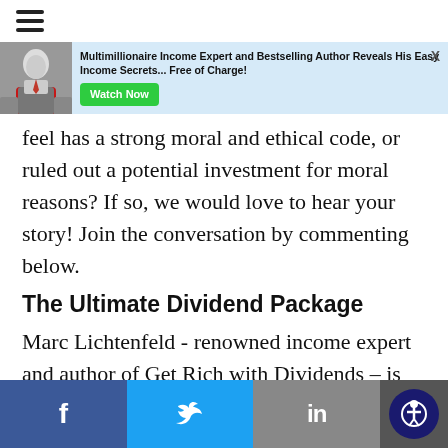[Figure (other): Hamburger menu icon (three horizontal lines) in top navigation bar]
[Figure (infographic): Advertisement banner: photo of man in suit, text 'Multimillionaire Income Expert and Bestselling Author Reveals His Easy Income Secrets... Free of Charge!' with green 'Watch Now' button and X close button]
feel has a strong moral and ethical code, or ruled out a potential investment for moral reasons? If so, we would love to hear your story! Join the conversation by commenting below.
The Ultimate Dividend Package
Marc Lichtenfeld - renowned income expert and author of Get Rich with Dividends – is giving away his Ultimate Dividend Package - completely free of charge.
Social share bar: Facebook, Twitter, LinkedIn, Accessibility